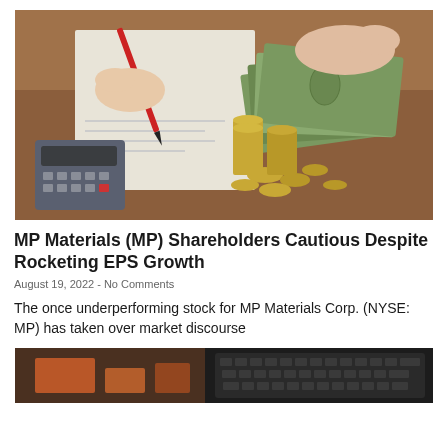[Figure (photo): Hands on a desk — one holding a red pen writing on paper, the other handling US dollar bills. Gold coins stacked and scattered on a wooden surface. A calculator visible on the left.]
MP Materials (MP) Shareholders Cautious Despite Rocketing EPS Growth
August 19, 2022 - No Comments
The once underperforming stock for MP Materials Corp. (NYSE: MP) has taken over market discourse
[Figure (photo): Partial image of financial documents or charts with a laptop keyboard visible, dark background.]